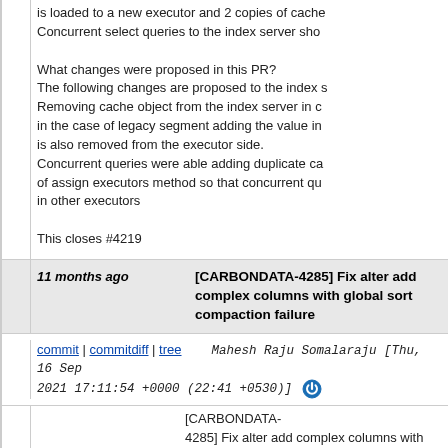is loaded to a new executor and 2 copies of cache...
Concurrent select queries to the index server sho...
What changes were proposed in this PR?
The following changes are proposed to the index s...
Removing cache object from the index server in ca...
in the case of legacy segment adding the value in...
is also removed from the executor side.
Concurrent queries were able adding duplicate ca...
of assign executors method so that concurrent qu...
in other executors

This closes #4219
11 months ago   [CARBONDATA-4285] Fix alter add complex columns with global sort compaction failure
commit | commitdiff | tree   Mahesh Raju Somalaraju [Thu, 16 Sep 2021 17:11:54 +0000 (22:41 +0530)]
[CARBONDATA-4285] Fix alter add complex columns with global s...

Why is this PR needed?
Alter add complex columns with global sort compa...

AOI exception : Currently creating default complex...
with size of 3. For map case need extra complex c...
value